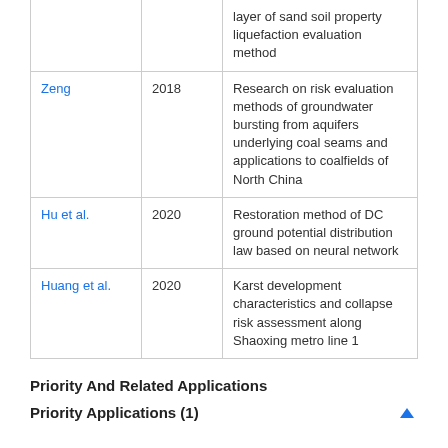| Author | Year | Title |
| --- | --- | --- |
|  |  | layer of sand soil property liquefaction evaluation method |
| Zeng | 2018 | Research on risk evaluation methods of groundwater bursting from aquifers underlying coal seams and applications to coalfields of North China |
| Hu et al. | 2020 | Restoration method of DC ground potential distribution law based on neural network |
| Huang et al. | 2020 | Karst development characteristics and collapse risk assessment along Shaoxing metro line 1 |
Priority And Related Applications
Priority Applications (1)